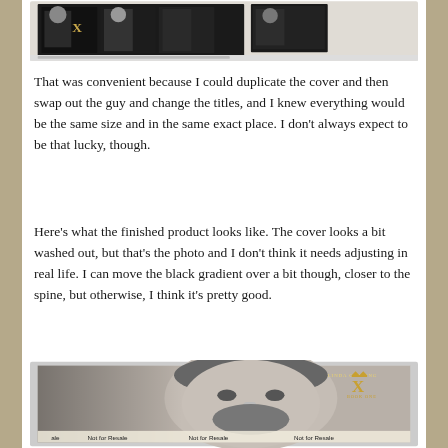[Figure (screenshot): Screenshot of a book cover design software showing multiple dark book covers with a male figure and X logo]
That was convenient because I could duplicate the cover and then swap out the guy and change the titles, and I knew everything would be the same size and in the same exact place. I don't always expect to be that lucky, though.
Here's what the finished product looks like. The cover looks a bit washed out, but that's the photo and I don't think it needs adjusting in real life. I can move the black gradient over a bit though, closer to the spine, but otherwise, I think it's pretty good.
[Figure (photo): Physical book cover showing a male model with a beard in black and white, with 'LINDA CRAVING', X logo, 'BOOK ONE', and 'Not for Resale' printed across the bottom]